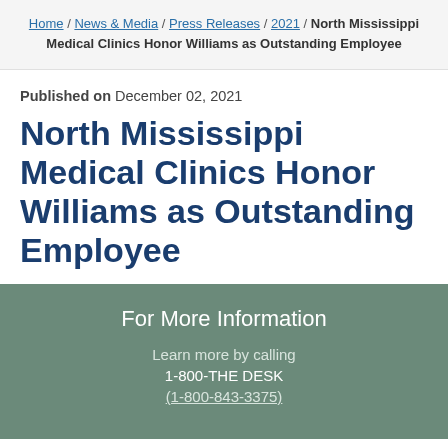Home / News & Media / Press Releases / 2021 / North Mississippi Medical Clinics Honor Williams as Outstanding Employee
Published on December 02, 2021
North Mississippi Medical Clinics Honor Williams as Outstanding Employee
For More Information
Learn more by calling
1-800-THE DESK
(1-800-843-3375)